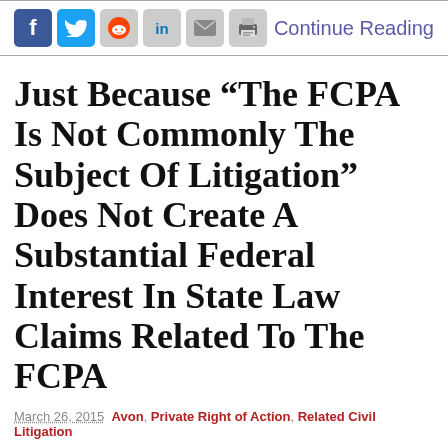[Figure (other): Social media sharing icons (Facebook, Twitter, Reddit, LinkedIn, Email, Print) and a 'Continue Reading' link in a header bar]
Just Because “The FCPA Is Not Commonly The Subject Of Litigation” Does Not Create A Substantial Federal Interest In State Law Claims Related To The FCPA
March 26, 2015  Avon,  Private Right of Action,  Related Civil Litigation
[Figure (photo): A wooden judge's gavel resting on a surface, brown tones with a grey background]
In any given year there tends to be 7 – 10 core Foreign Corrupt Practices Act